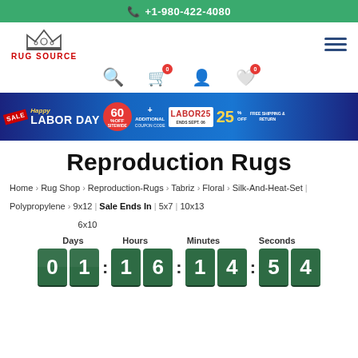+1-980-422-4080
[Figure (logo): Rug Source logo with crown icon and red text]
[Figure (infographic): Happy Labor Day sale banner: 60% off sitewide, additional 25% off with coupon code LABOR25, ends Sept 06, free shipping and return]
Reproduction Rugs
Home > Rug Shop > Reproduction-Rugs > Tabriz > Floral > Silk-And-Heat-Set | Polypropylene > 9x12 | 6x10 | 5x7 | 10x13
Sale Ends In
Days 01 Hours 16 Minutes 14 Seconds 54